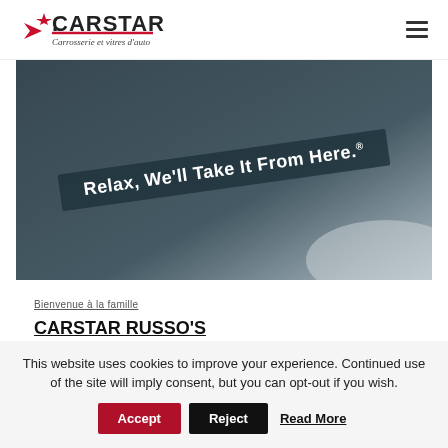CARSTAR – Carrosserie et vitres d'auto
[Figure (photo): Dark grey background photo showing a banner sign with text 'Relax, We'll Take It From Here.' on a diagonal band]
Bienvenue à la famille
CARSTAR RUSSO'S COLLISION OPENS WITH PLANS TO CONTINUE
This website uses cookies to improve your experience. Continued use of the site will imply consent, but you can opt-out if you wish.  Accept  Reject  Read More